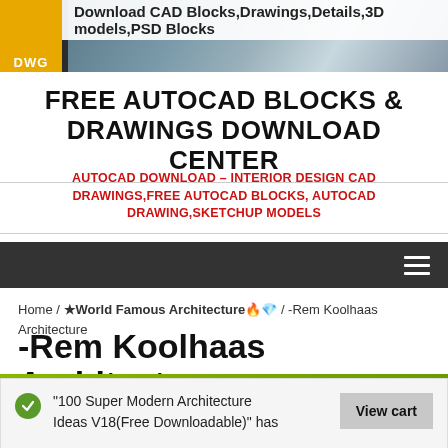Download CAD Blocks,Drawings,Details,3D models,PSD Blocks
FREE AUTOCAD BLOCKS & DRAWINGS DOWNLOAD CENTER
AUTOCAD DOWNLOAD - INTERIOR DESIGN CAD DRAWINGS,FREE AUTOCAD BLOCKS, AUTOCAD DRAWING,SKETCHUP MODELS
Home / ★World Famous Architecture🔥💎 / -Rem Koolhaas Architecture
-Rem Koolhaas Architecture
"100 Super Modern Architecture Ideas V18(Free Downloadable)" has
View cart